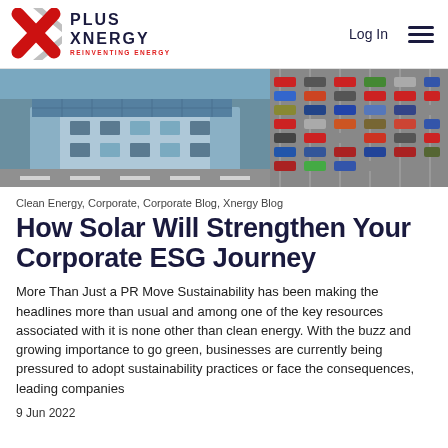PLUS XNERGY – REINVENTING ENERGY | Log In | Menu
[Figure (photo): Aerial view of a commercial building with solar panels on rooftop, adjacent parking lot full of cars]
Clean Energy, Corporate, Corporate Blog, Xnergy Blog
How Solar Will Strengthen Your Corporate ESG Journey
More Than Just a PR Move Sustainability has been making the headlines more than usual and among one of the key resources associated with it is none other than clean energy. With the buzz and growing importance to go green, businesses are currently being pressured to adopt sustainability practices or face the consequences, leading companies
9 Jun 2022